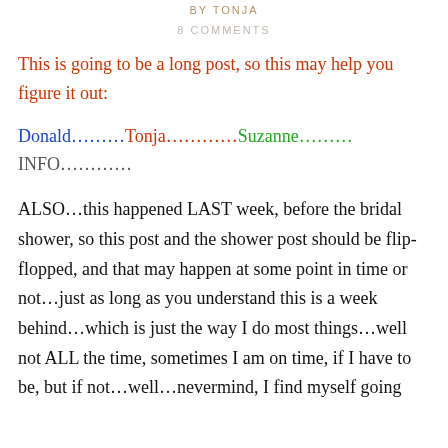BY TONJA
8 COMMENTS
This is going to be a long post, so this may help you figure it out:
Donald………Tonja…………Suzanne………INFO…………
ALSO…this happened LAST week, before the bridal shower, so this post and the shower post should be flip-flopped, and that may happen at some point in time or not…just as long as you understand this is a week behind…which is just the way I do most things…well not ALL the time, sometimes I am on time, if I have to be, but if not…well…nevermind, I find myself going